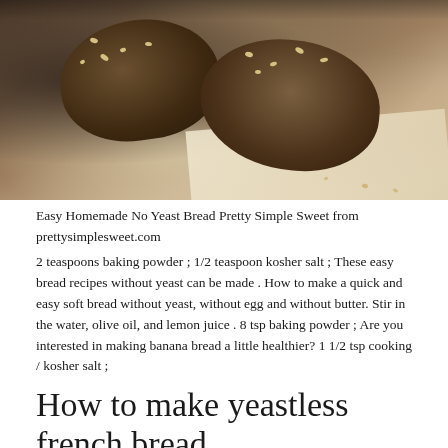[Figure (photo): Close-up photo of rustic no-yeast bread loaves with oat toppings on parchment paper, dark moody background]
Easy Homemade No Yeast Bread Pretty Simple Sweet from prettysimplesweet.com
2 teaspoons baking powder ; 1/2 teaspoon kosher salt ; These easy bread recipes without yeast can be made . How to make a quick and easy soft bread without yeast, without egg and without butter. Stir in the water, olive oil, and lemon juice . 8 tsp baking powder ; Are you interested in making banana bread a little healthier? 1 1/2 tsp cooking / kosher salt ;
How to make yeastless french bread.
8 tsp baking powder ; Banana bread is a perfect treat to whip up when you're craving something sweet, and banana bread recipes come with tons of customizations to satisfy every flavor profile and craving. 3 tsp white sugar ; Take a look at some of our favorites! Making sourdough bread sounds intimidating, but it's easy enough that even beginners can do it. 3/4 cup · (175 grams) . Whisk together flour, sugar, baking powder, and baking soda in a bowl. Stir in the